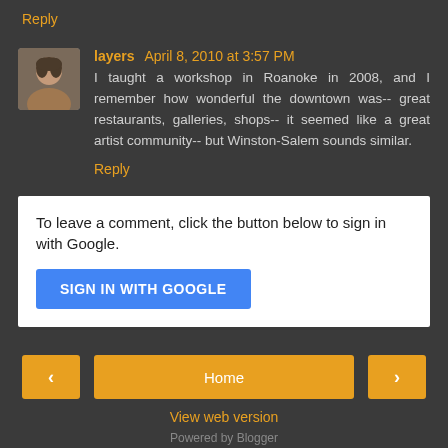Reply
layers April 8, 2010 at 3:57 PM
I taught a workshop in Roanoke in 2008, and I remember how wonderful the downtown was-- great restaurants, galleries, shops-- it seemed like a great artist community-- but Winston-Salem sounds similar.
Reply
To leave a comment, click the button below to sign in with Google.
SIGN IN WITH GOOGLE
Home
View web version
Powered by Blogger